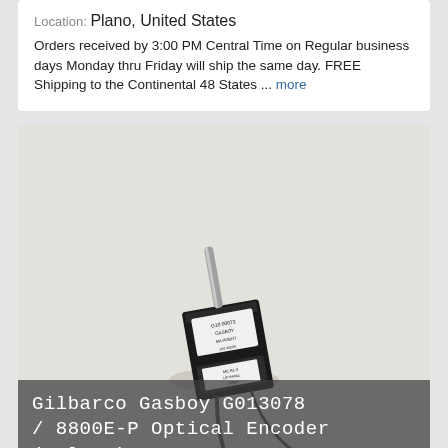Location: Plano, United States
Orders received by 3:00 PM Central Time on Regular business days Monday thru Friday will ship the same day. FREE Shipping to the Continental 48 States ... more
[Figure (photo): Photo of a small black Gilbarco Gasboy optical encoder (pulser) device with a metal shaft, placed on a white surface. Labels are visible on the device body.]
Gilbarco Gasboy G013078 / 8800E-P Optical Encoder (Pulser)
$379.99  Buy It Now